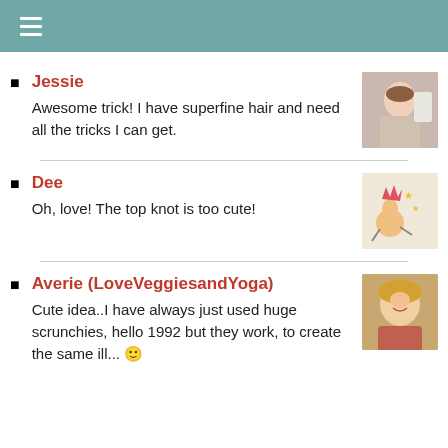≡
Jessie
Awesome trick! I have superfine hair and need all the tricks I can get.
Dee
Oh, love! The top knot is too cute!
Averie (LoveVeggiesandYoga)
Cute idea..I have always just used huge scrunchies, hello 1992 but they work, to create the same ill...